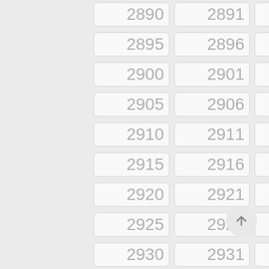[Figure (other): Grid of numbered cells from 2890 to 2944 arranged in 5 columns, with a floating action button (up arrow) in the bottom right]
[Figure (other): Floating action button with upward arrow]